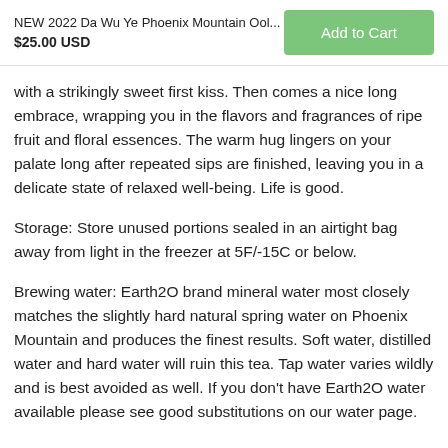NEW 2022 Da Wu Ye Phoenix Mountain Ool... $25.00 USD
with a strikingly sweet first kiss. Then comes a nice long embrace, wrapping you in the flavors and fragrances of ripe fruit and floral essences. The warm hug lingers on your palate long after repeated sips are finished, leaving you in a delicate state of relaxed well-being. Life is good.
Storage: Store unused portions sealed in an airtight bag away from light in the freezer at 5F/-15C or below.
Brewing water: Earth2O brand mineral water most closely matches the slightly hard natural spring water on Phoenix Mountain and produces the finest results. Soft water, distilled water and hard water will ruin this tea. Tap water varies wildly and is best avoided as well. If you don't have Earth2O water available please see good substitutions on our water page.